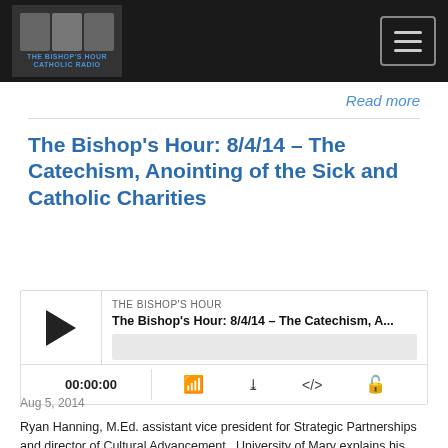[Figure (logo): The Bishop's Hour podcast logo with three people and navigation menu button]
Read more
The Bishop's Hour: 8/4/14 – The Catechism, Anointing of the Sick and Catholic Charities
[Figure (screenshot): Podcast audio player showing THE BISHOP'S HOUR, The Bishop's Hour: 8/4/14 – The Catechism, A... with play button, progress bar, time 00:00:00 and control icons]
Aug 5, 2014
Ryan Hanning, M.Ed. assistant vice president for Strategic Partnerships and director of Cultural Advancement,  University of Mary explains his favorite sections from the Catechism of the Catholic Church. Fr. Scott Sperry, parochial vicar, Christ the King shares his experiences with the Anointing of the Sick. Bob...